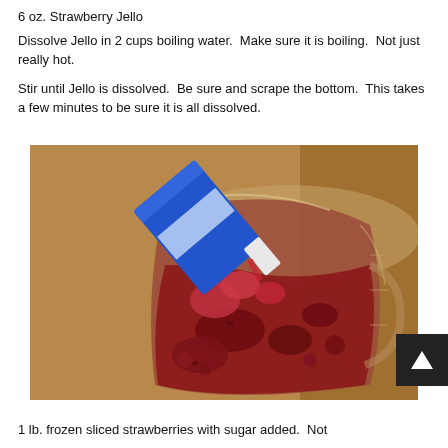6 oz. Strawberry Jello
Dissolve Jello in 2 cups boiling water.  Make sure it is boiling.  Not just really hot.
Stir until Jello is dissolved.  Be sure and scrape the bottom.  This takes a few minutes to be sure it is all dissolved.
[Figure (photo): Photo of strawberries and red jello mixture being poured into a large glass measuring cup, with a blue container tipped on its side pouring the contents in.]
1 lb. frozen sliced strawberries with sugar added.  Not